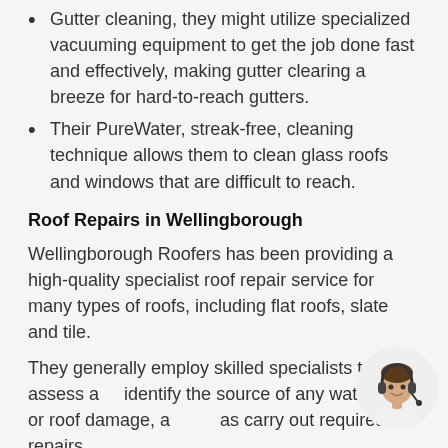Gutter cleaning, they might utilize specialized vacuuming equipment to get the job done fast and effectively, making gutter clearing a breeze for hard-to-reach gutters.
Their PureWater, streak-free, cleaning technique allows them to clean glass roofs and windows that are difficult to reach.
Roof Repairs in Wellingborough
Wellingborough Roofers has been providing a high-quality specialist roof repair service for many types of roofs, including flat roofs, slate and tile.
They generally employ skilled specialists to assess and identify the source of any water leak or roof damage, as well as carry out required repairs.
They frequently deal with sloping or damaged slate, tiles and ridges, loose and faulty cover flashings, blocked outlets and ...